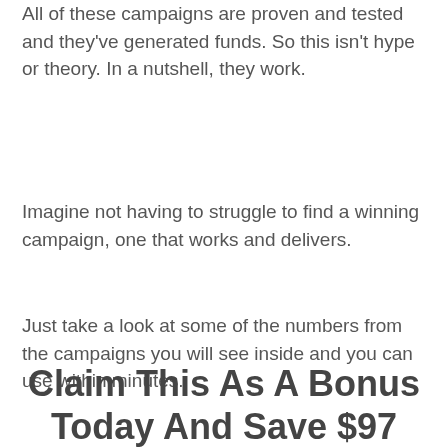All of these campaigns are proven and tested and they've generated funds. So this isn't hype or theory. In a nutshell, they work.
Imagine not having to struggle to find a winning campaign, one that works and delivers.
Just take a look at some of the numbers from the campaigns you will see inside and you can use within minutes.
Claim This As A Bonus Today And Save $97